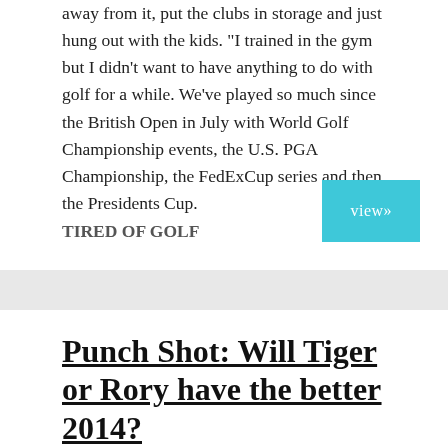away from it, put the clubs in storage and just hung out with the kids. "I trained in the gym but I didn't want to have anything to do with golf for a while. We've played so much since the British Open in July with World Golf Championship events, the U.S. PGA Championship, the FedExCup series and then the Presidents Cup. TIRED OF GOLF
Punch Shot: Will Tiger or Rory have the better 2014?
Oct 29, 2013
Rory McIlroy defeated Tiger Woods Monday in a one-on-one exhibition match in China. Both have a few more starts in 2013,